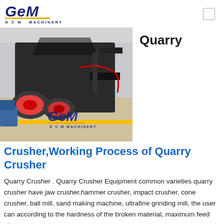[Figure (logo): GCM Machinery logo with stylized italic GEM text in dark blue, gold underline, and 'G C M  MACHINERY' subtitle]
[Figure (photo): Industrial quarry crusher machine photographed in a factory/warehouse setting, with GCM Machinery watermark logo overlaid at bottom center. Text 'Quarry' appears to the right of the image.]
Crusher,Working Process of Quarry Crusher
Quarry Crusher . Quarry Crusher Equipment common varieties quarry crusher have jaw crusher,hammer crusher, impact crusher, cone crusher, ball mill, sand making machine, ultrafine grinding mill, the user can according to the hardness of the broken material, maximum feed size,